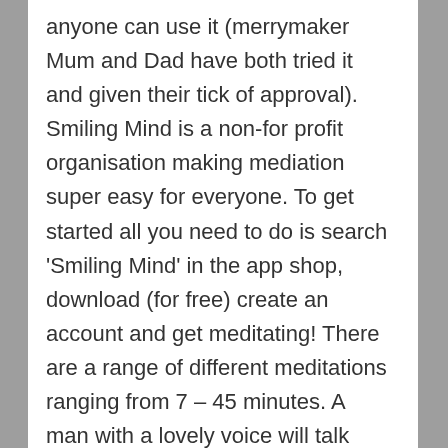anyone can use it (merrymaker Mum and Dad have both tried it and given their tick of approval). Smiling Mind is a non-for profit organisation making mediation super easy for everyone. To get started all you need to do is search 'Smiling Mind' in the app shop, download (for free) create an account and get meditating! There are a range of different meditations ranging from 7 – 45 minutes. A man with a lovely voice will talk you through the mediation (Mr Smiling Mind (yes we named him) sounds super nice and good looking).
We always feel better after meditating. We...